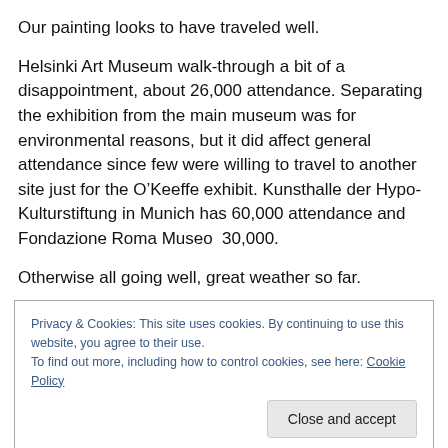Our painting looks to have traveled well.
Helsinki Art Museum walk-through a bit of a disappointment, about 26,000 attendance. Separating the exhibition from the main museum was for environmental reasons, but it did affect general attendance since few were willing to travel to another site just for the O’Keeffe exhibit. Kunsthalle der Hypo-Kulturstiftung in Munich has 60,000 attendance and Fondazione Roma Museo  30,000.
Otherwise all going well, great weather so far.
Privacy & Cookies: This site uses cookies. By continuing to use this website, you agree to their use.
To find out more, including how to control cookies, see here: Cookie Policy
Close and accept